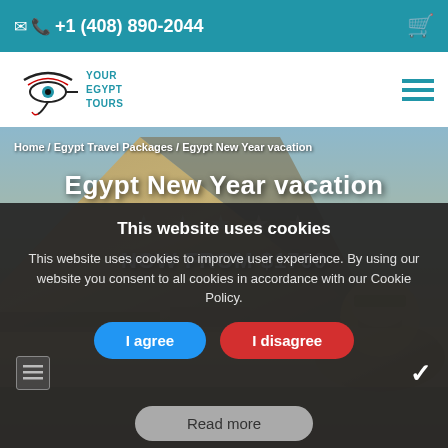✉ 📞 +1 (408) 890-2044
[Figure (logo): Your Egypt Tours logo with Eye of Horus symbol]
Home / Egypt Travel Packages / Egypt New Year vacation
Egypt New Year vacation
NOW FROM $1700
[Figure (photo): Background photo of the Great Pyramid of Giza and the Sphinx]
This website uses cookies
This website uses cookies to improve user experience. By using our website you consent to all cookies in accordance with our Cookie Policy.
I agree | I disagree
Read more